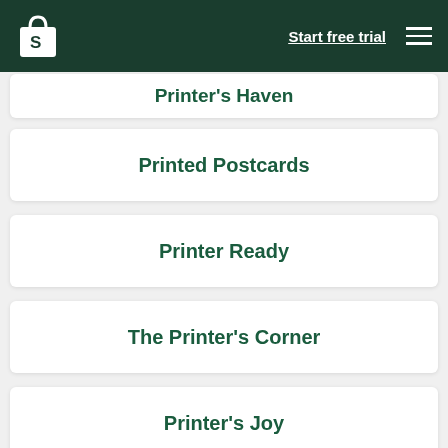Shopify — Start free trial
Printer's Haven
Printed Postcards
Printer Ready
The Printer's Corner
Printer's Joy
Printer's Dream